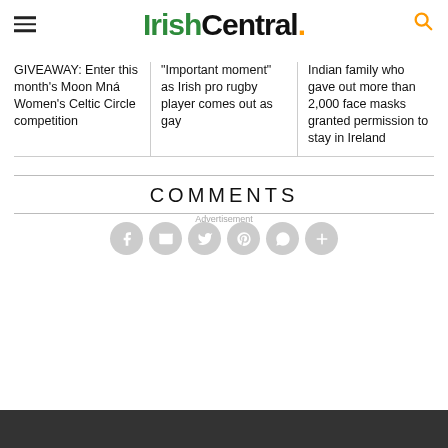IrishCentral.
GIVEAWAY: Enter this month's Moon Mná Women's Celtic Circle competition
"Important moment" as Irish pro rugby player comes out as gay
Indian family who gave out more than 2,000 face masks granted permission to stay in Ireland
COMMENTS
Advertisement